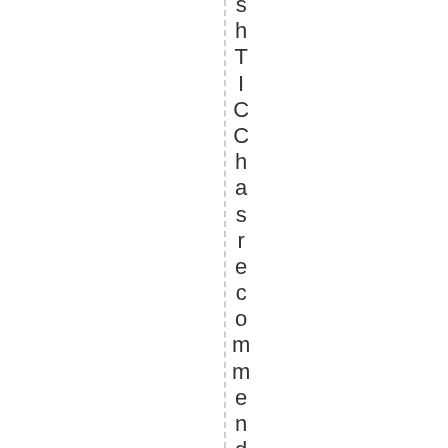shTICChas recommended this exercis